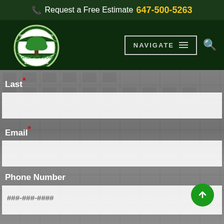📞 Request a Free Estimate 647-500-5263
[Figure (logo): Greenbloom Landscaping circular logo with tree, text: DESIGN. BUILD. ENJOY]
NAVIGATE
Last*
Email*
Phone Number
###-###-####